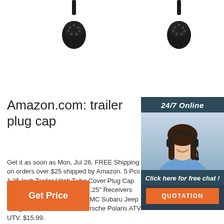[Figure (photo): Trailer plug/connector product image, top left, black connector head visible]
[Figure (photo): Trailer plug/connector product image, top right, black connector head visible]
Amazon.com: trailer plug cap
Get it as soon as Mon, Jul 26. FREE Shipping on orders over $25 shipped by Amazon. 5 Pcs 1.25 Inch Trailer Hitch Tube Cover Plug Cap Universal Rubber Insert for 1.25" Receivers Class 1 and 2 Ford Toyota GMC Subaru Jeep Dodge Nissan Audi BMW Porsche Polaris ATV UTV. $15.99.
[Figure (infographic): 24/7 Online chat widget with woman wearing headset and orange QUOTATION button]
[Figure (other): Orange Get Price button]